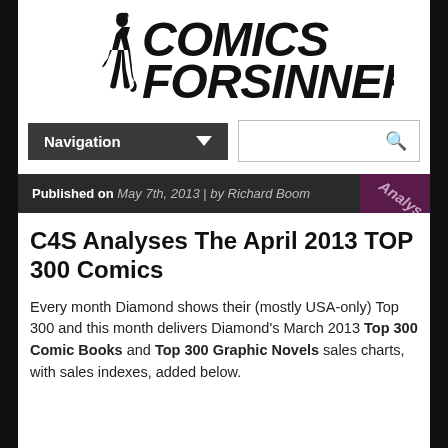[Figure (logo): Comics For Sinners logo with silhouette figure and bold distressed text]
Navigation
Published on May 7th, 2013 | by Richard Boom
C4S Analyses The April 2013 TOP 300 Comics
Every month Diamond shows their (mostly USA-only) Top 300 and this month delivers Diamond's March 2013 Top 300 Comic Books and Top 300 Graphic Novels sales charts, with sales indexes, added below.